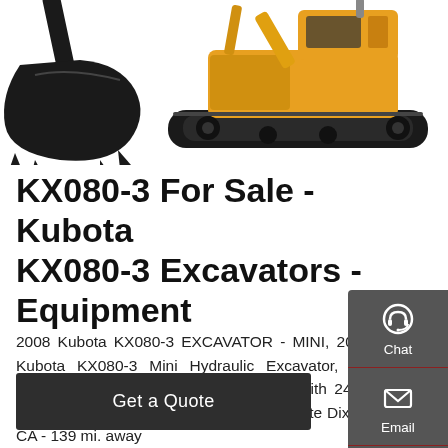[Figure (photo): Excavator bucket attachment on the left and a yellow Kubota KX080-3 mini excavator on the right, shown against a white background.]
KX080-3 For Sale - Kubota KX080-3 Excavators - Equipment
2008 Kubota KX080-3 EXCAVATOR - MINI, 2008 Kubota KX080-3 Mini Hydraulic Excavator, s/n 20044, Kubota diesel, Hydraulic Drive, with 24 in digging buck JJ Kane Auctioneers - Website Dixon, CA - 139 mi. away
[Figure (infographic): Right sidebar with Chat (headset icon), Email (envelope icon), and Contact (speech bubble icon) buttons on a dark gray background.]
Get a Quote